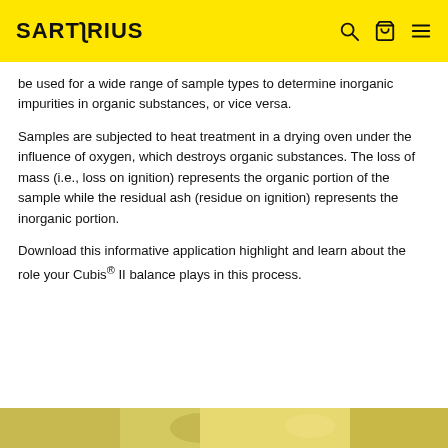SARTORIUS
be used for a wide range of sample types to determine inorganic impurities in organic substances, or vice versa.
Samples are subjected to heat treatment in a drying oven under the influence of oxygen, which destroys organic substances. The loss of mass (i.e., loss on ignition) represents the organic portion of the sample while the residual ash (residue on ignition) represents the inorganic portion.
Download this informative application highlight and learn about the role your Cubis® II balance plays in this process.
[Figure (photo): Partial view of a yellow-toned product/lab image at the bottom of the page]